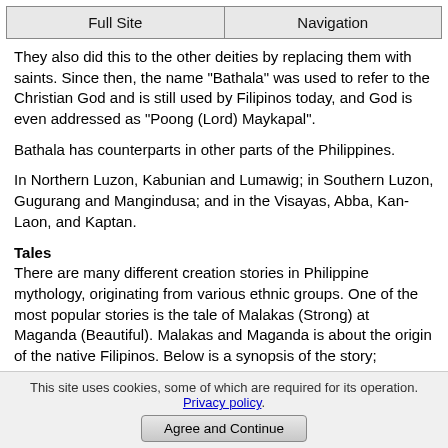Full Site | Navigation
They also did this to the other deities by replacing them with saints. Since then, the name "Bathala" was used to refer to the Christian God and is still used by Filipinos today, and God is even addressed as "Poong (Lord) Maykapal".
Bathala has counterparts in other parts of the Philippines.
In Northern Luzon, Kabunian and Lumawig; in Southern Luzon, Gugurang and Mangindusa; and in the Visayas, Abba, Kan-Laon, and Kaptan.
Tales
There are many different creation stories in Philippine mythology, originating from various ethnic groups. One of the most popular stories is the tale of Malakas (Strong) at Maganda (Beautiful). Malakas and Maganda is about the origin of the native Filipinos. Below is a synopsis of the story;
[Figure (illustration): Illustration of Malakas and Maganda, a man and woman depicted in a tropical bamboo setting]
This site uses cookies, some of which are required for its operation. Privacy policy. Agree and Continue